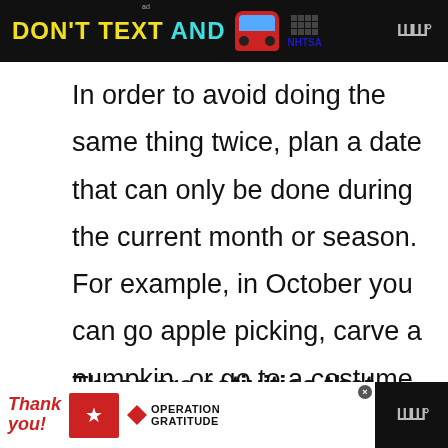[Figure (screenshot): NHTSA advertisement banner: 'DON'T TEXT AND' with car emoji on dark background]
In order to avoid doing the same thing twice, plan a date that can only be done during the current month or season. For example, in October you can go apple picking, carve a pumpkin, or go to a costume store. In the winter, you can go sledding or ice skating.
These are activities that you can only do seasonally, so you won't feel like you are repeating these ideas too often.
[Figure (screenshot): Operation Gratitude advertisement banner at the bottom with 'Thank you!' text and military imagery]